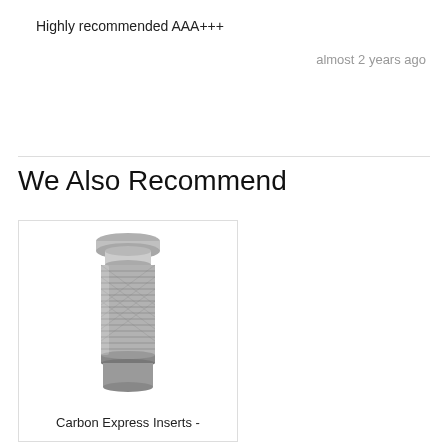Highly recommended AAA+++
almost 2 years ago
We Also Recommend
[Figure (photo): A metal arrow insert (Carbon Express Insert) — a cylindrical knurled metallic component with a wider flange at top, used for archery arrows.]
Carbon Express Inserts -